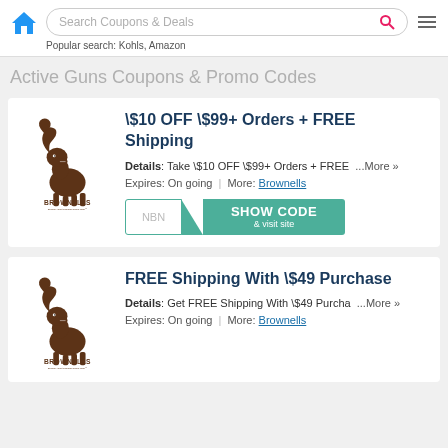[Figure (logo): Blue house home icon]
Search Coupons & Deals
Popular search: Kohls, Amazon
Active Guns Coupons & Promo Codes
[Figure (logo): Brownells brand logo with ram head and text]
$10 OFF $99+ Orders + FREE Shipping
Details: Take $10 OFF $99+ Orders + FREE  ...More »
Expires: On going | More: Brownells
NBM  SHOW CODE & visit site
[Figure (logo): Brownells brand logo with ram head and text]
FREE Shipping With $49 Purchase
Details: Get FREE Shipping With $49 Purchase ...More »
Expires: On going | More: Brownells